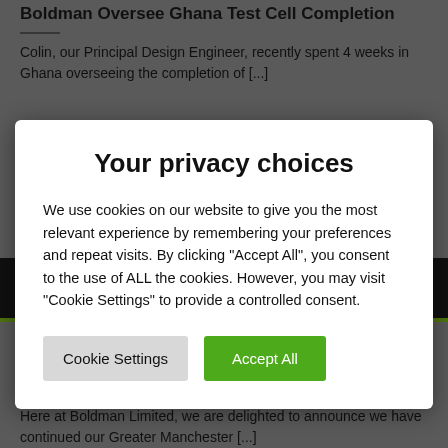Boldman Oversee Ghana Test Cell Completion
Colin, our Principal Design Engineer, recently spent 4 weeks in Ghana overseeing the completion of [...]
Your privacy choices
We use cookies on our website to give you the most relevant experience by remembering your preferences and repeat visits. By clicking "Accept All", you consent to the use of ALL the cookies. However, you may visit "Cookie Settings" to provide a controlled consent.
Cookie Settings | Accept All
Greater Manchester Chamber of Commerce: Member of Chamber of the Year
Here at Boldman Limited, we are delighted to announce we have continued our Greater Manchester [...]